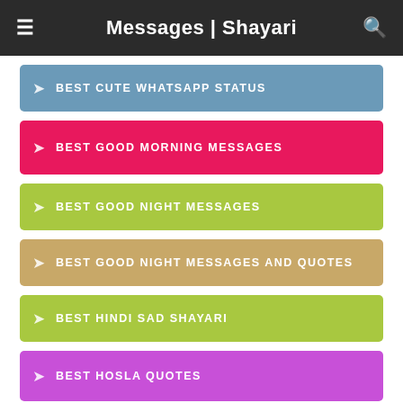Messages | Shayari
BEST CUTE WHATSAPP STATUS
BEST GOOD MORNING MESSAGES
BEST GOOD NIGHT MESSAGES
BEST GOOD NIGHT MESSAGES AND QUOTES
BEST HINDI SAD SHAYARI
BEST HOSLA QUOTES
BEST JIMMEDARI STATUS
(partial teal item)